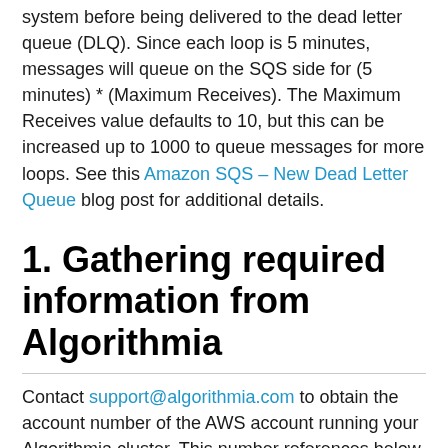system before being delivered to the dead letter queue (DLQ). Since each loop is 5 minutes, messages will queue on the SQS side for (5 minutes) * (Maximum Receives). The Maximum Receives value defaults to 10, but this can be increased up to 1000 to queue messages for more loops. See this Amazon SQS – New Dead Letter Queue blog post for additional details.
1. Gathering required information from Algorithmia
Contact support@algorithmia.com to obtain the account number of the AWS account running your Algorithmia cluster. This number references below as AlgorithmiaAccountNumber.